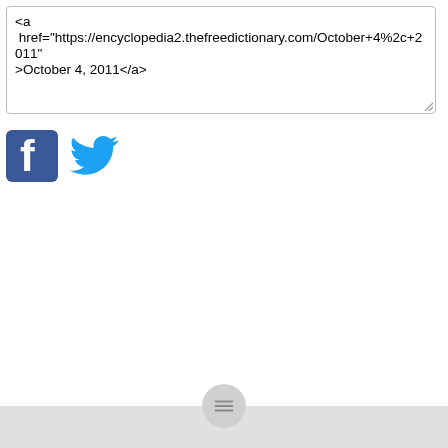<a href="https://encyclopedia2.thefreedictionary.com/October+4%2c+2011">October 4, 2011</a>
[Figure (screenshot): Facebook and Twitter social sharing icons side by side]
[Figure (screenshot): Bottom navigation bar with hamburger/menu button]